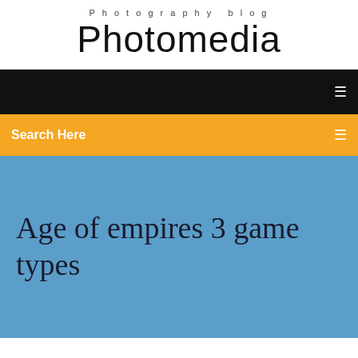Photography blog
Photomedia
Search Here
Age of empires 3 game types